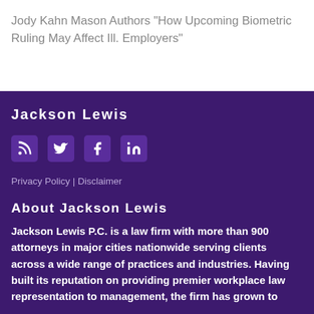Jody Kahn Mason Authors “How Upcoming Biometric Ruling May Affect Ill. Employers”
Jackson Lewis
[Figure (infographic): Social media icons: RSS feed, Twitter, Facebook, LinkedIn]
Privacy Policy | Disclaimer
About Jackson Lewis
Jackson Lewis P.C. is a law firm with more than 900 attorneys in major cities nationwide serving clients across a wide range of practices and industries. Having built its reputation on providing premier workplace law representation to management, the firm has grown to